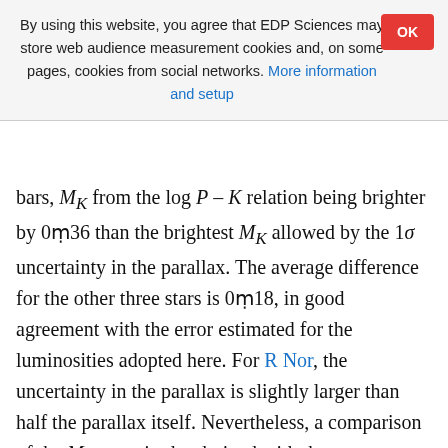By using this website, you agree that EDP Sciences may store web audience measurement cookies and, on some pages, cookies from social networks. More information and setup
bars, M_K from the log P – K relation being brighter by 0m36 than the brightest M_K allowed by the 1σ uncertainty in the parallax. The average difference for the other three stars is 0m18, in good agreement with the error estimated for the luminosities adopted here. For R Nor, the uncertainty in the parallax is slightly larger than half the parallax itself. Nevertheless, a comparison of the M_K magnitudes derived with the two methods is interesting and suggests that the true parallax is probably near the lower limit of the 1σ range, hence the distance is probably near the upper limit of 800 pc (see also Sect. 4.1).